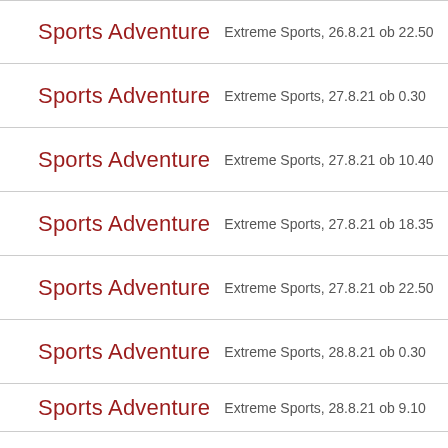Sports Adventure  Extreme Sports, 26.8.21 ob 22.50
Sports Adventure  Extreme Sports, 27.8.21 ob 0.30
Sports Adventure  Extreme Sports, 27.8.21 ob 10.40
Sports Adventure  Extreme Sports, 27.8.21 ob 18.35
Sports Adventure  Extreme Sports, 27.8.21 ob 22.50
Sports Adventure  Extreme Sports, 28.8.21 ob 0.30
Sports Adventure  Extreme Sports, 28.8.21 ob 9.10